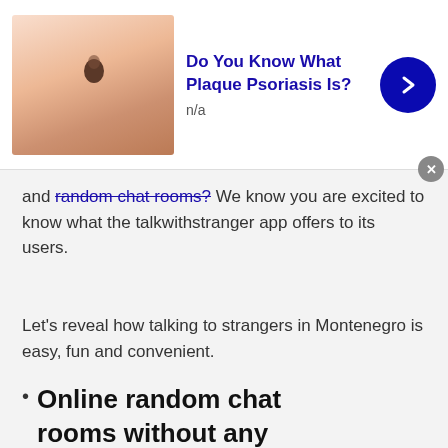[Figure (infographic): Top advertisement banner: image of skin with a mole/lesion, title 'Do You Know What Plaque Psoriasis Is?', subtitle 'n/a', blue arrow button, close X button]
and random chat rooms? We know you are excited to know what the talkwithstranger app offers to its users.
Let's reveal how talking to strangers in Montenegro is easy, fun and convenient.
Online random chat rooms without any registration
[Figure (infographic): Back-to-top cyan button with upward chevron]
[Figure (infographic): Bottom advertisement banner: image of skin with a mole/lesion, title 'Do You Know What Plaque Psoriasis Is?', subtitle 'n/a', blue arrow button, close X button]